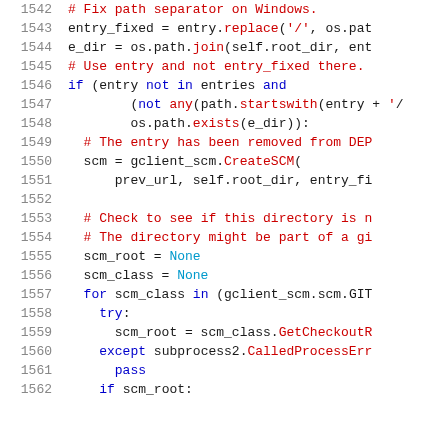[Figure (screenshot): Source code listing lines 1542-1562 of a Python file, showing path separator fix, entry removal logic, and SCM root detection loop.]